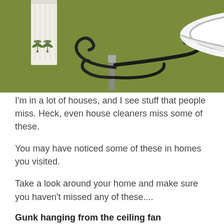[Figure (photo): A bathroom with an olive green wall featuring a white vessel sink mounted on a black wrought-iron stand, and a white hand towel hanging on the left with embroidered palm trees.]
I'm in a lot of houses, and I see stuff that people miss. Heck, even house cleaners miss some of these.
You may have noticed some of these in homes you visited.
Take a look around your home and make sure you haven't missed any of these....
Gunk hanging from the ceiling fan